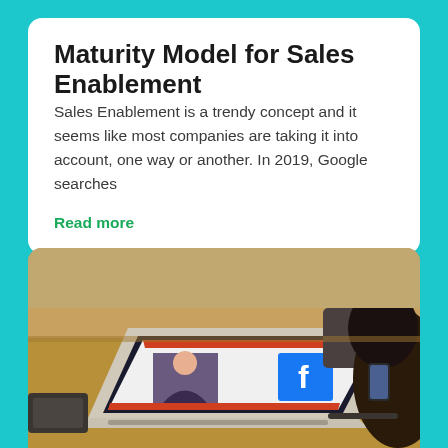Maturity Model for Sales Enablement
Sales Enablement is a trendy concept and it seems like most companies are taking it into account, one way or another. In 2019, Google searches
Read more
[Figure (photo): Person sitting at a desk looking at a laptop screen displaying a PowerPoint presentation with a Facebook logo and a woman's photo on it]